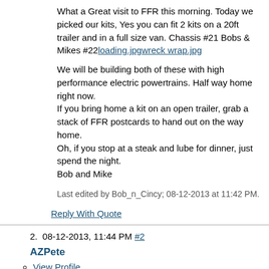What a Great visit to FFR this morning. Today we picked our kits, Yes you can fit 2 kits on a 20ft trailer and in a full size van. Chassis #21 Bobs & Mikes #22loading.jpgwreck wrap.jpg
We will be building both of these with high performance electric powertrains. Half way home right now.
If you bring home a kit on an open trailer, grab a stack of FFR postcards to hand out on the way home.
Oh, if you stop at a steak and lube for dinner, just spend the night.
Bob and Mike
Last edited by Bob_n_Cincy; 08-12-2013 at 11:42 PM.
Reply With Quote
2. 08-12-2013, 11:44 PM #2
AZPete
View Profile
View Forum Posts